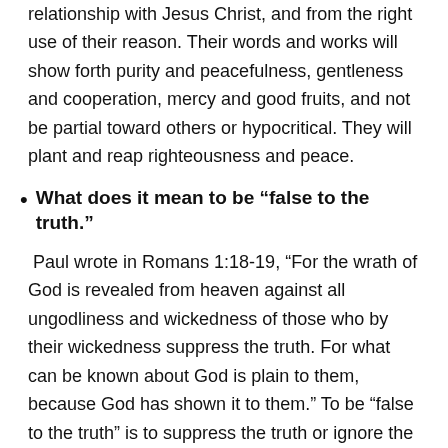relationship with Jesus Christ, and from the right use of their reason. Their words and works will show forth purity and peacefulness, gentleness and cooperation, mercy and good fruits, and not be partial toward others or hypocritical. They will plant and reap righteousness and peace.
What does it mean to be “false to the truth.”
Paul wrote in Romans 1:18-19, “For the wrath of God is revealed from heaven against all ungodliness and wickedness of those who by their wickedness suppress the truth. For what can be known about God is plain to them, because God has shown it to them.” To be “false to the truth” is to suppress the truth or ignore the truth or tell a lie rather than tell the truth or intentionally mislead someone to take selfish advantage of them. People can be false to the truth by admitting what is true while living